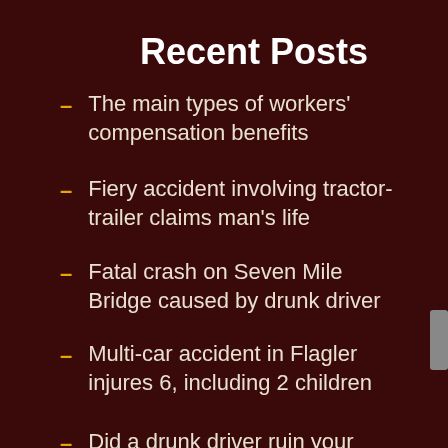Recent Posts
The main types of workers' compensation benefits
Fiery accident involving tractor-trailer claims man's life
Fatal crash on Seven Mile Bridge caused by drunk driver
Multi-car accident in Flagler injures 6, including 2 children
Did a drunk driver ruin your Florida vacation?
Categories
Blog